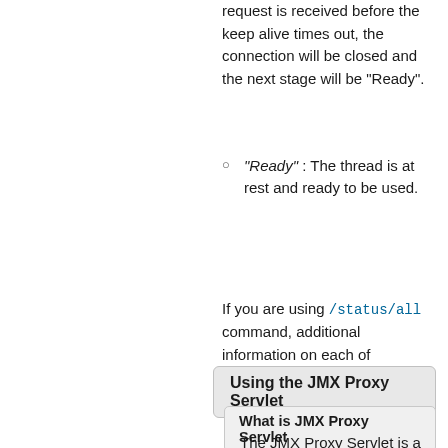request is received before the keep alive times out, the connection will be closed and the next stage will be "Ready".
"Ready" : The thread is at rest and ready to be used.
If you are using /status/all command, additional information on each of deployed web applications will be available.
Using the JMX Proxy Servlet
What is JMX Proxy Servlet
The JMX Proxy Servlet is a